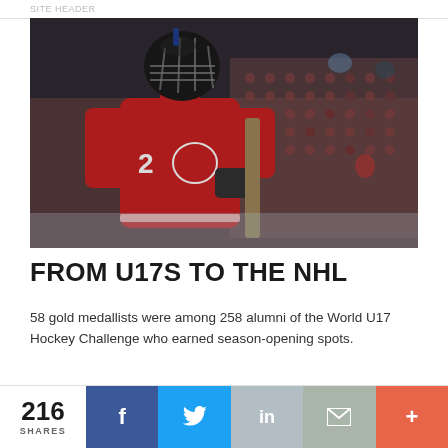SITE HEADER
[Figure (photo): Hockey player wearing red Canada jersey number 2 with a black helmet and cage, holding a hockey stick, with arena seating visible in the background]
FROM U17S TO THE NHL
58 gold medallists were among 258 alumni of the World U17 Hockey Challenge who earned season-opening spots.